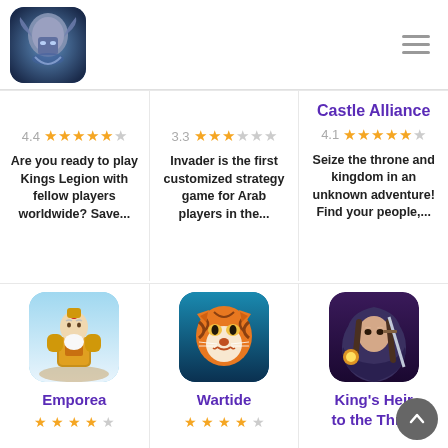[Figure (logo): App logo: armored warrior face with blue glow]
4.4 ★★★★★☆ Are you ready to play Kings Legion with fellow players worldwide? Save...
3.3 ★★★★☆☆ Invader is the first customized strategy game for Arab players in the...
Castle Alliance 4.1 ★★★★★☆ Seize the throne and kingdom in an unknown adventure! Find your people,...
[Figure (illustration): Game icon: golden armored warrior with white beard]
Emporea
[Figure (illustration): Game icon: anthropomorphic tiger warrior in orange]
Wartide
[Figure (illustration): Game icon: hooded prince with sword and glowing orb]
King's Heir
to the Throne